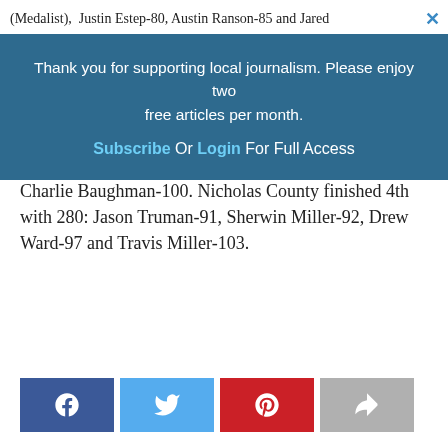(Medalist),  Justin Estep-80, Austin Ranson-85 and Jared ×
Thank you for supporting local journalism. Please enjoy two free articles per month.

Subscribe Or Login For Full Access
Charlie Baughman-100. Nicholas County finished 4th with 280: Jason Truman-91, Sherwin Miller-92, Drew Ward-97 and Travis Miller-103.
[Figure (other): Social share buttons: Facebook (dark blue), Twitter (light blue), Pinterest (red), Share (gray)]
Previous Post
'Feel the Magic' once again
Next Post